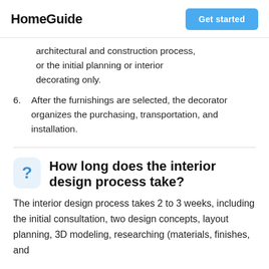HomeGuide | Get started
architectural and construction process, or the initial planning or interior decorating only.
6. After the furnishings are selected, the decorator organizes the purchasing, transportation, and installation.
How long does the interior design process take?
The interior design process takes 2 to 3 weeks, including the initial consultation, two design concepts, layout planning, 3D modeling, researching (materials, finishes, and